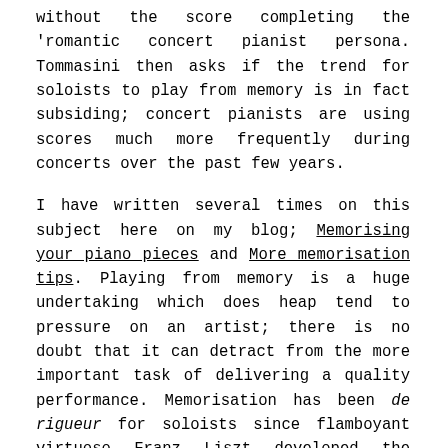without the score completing the 'romantic concert pianist persona. Tommasini then asks if the trend for soloists to play from memory is in fact subsiding; concert pianists are using scores much more frequently during concerts over the past few years.

I have written several times on this subject here on my blog; Memorising your piano pieces and More memorisation tips. Playing from memory is a huge undertaking which does heap tend to pressure on an artist; there is no doubt that it can detract from the more important task of delivering a quality performance. Memorisation has been de rigueur for soloists since flamboyant virtuoso Franz Liszt developed the concept in the Nineteenth Century and many regard it as a